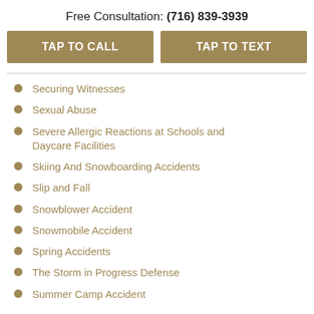Free Consultation: (716) 839-3939
TAP TO CALL
TAP TO TEXT
Securing Witnesses
Sexual Abuse
Severe Allergic Reactions at Schools and Daycare Facilities
Skiing And Snowboarding Accidents
Slip and Fall
Snowblower Accident
Snowmobile Accident
Spring Accidents
The Storm in Progress Defense
Summer Camp Accident